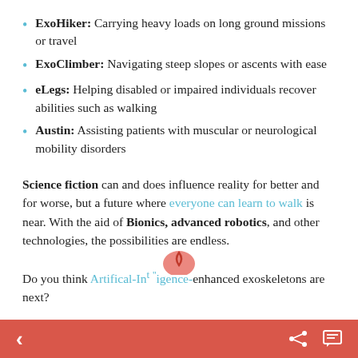ExoHiker: Carrying heavy loads on long ground missions or travel
ExoClimber: Navigating steep slopes or ascents with ease
eLegs: Helping disabled or impaired individuals recover abilities such as walking
Austin: Assisting patients with muscular or neurological mobility disorders
Science fiction can and does influence reality for better and for worse, but a future where everyone can learn to walk is near. With the aid of Bionics, advanced robotics, and other technologies, the possibilities are endless.
Do you think Artifical-Intelligence-enhanced exoskeletons are next?
< share comment